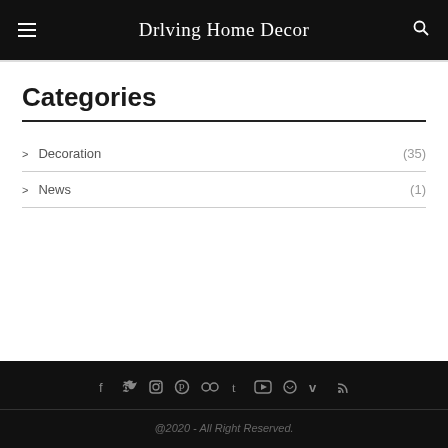Drlving Home Decor
Categories
Decoration (35)
News (1)
@2020 - All Right Reserved.